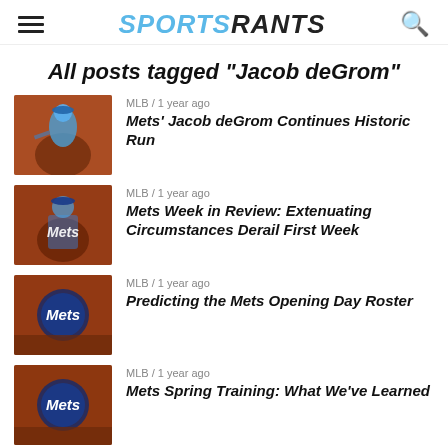SPORTSRANTS
All posts tagged "Jacob deGrom"
MLB / 1 year ago — Mets' Jacob deGrom Continues Historic Run
MLB / 1 year ago — Mets Week in Review: Extenuating Circumstances Derail First Week
MLB / 1 year ago — Predicting the Mets Opening Day Roster
MLB / 1 year ago — Mets Spring Training: What We've Learned